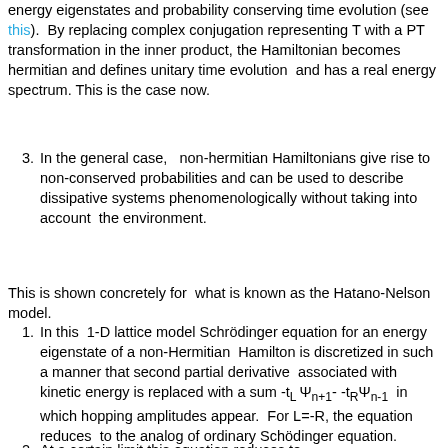energy eigenstates and probability conserving time evolution (see this).  By replacing complex conjugation representing T with a PT transformation in the inner product, the Hamiltonian becomes hermitian and defines unitary time evolution  and has a real energy spectrum. This is the case now.
3. In the general case,   non-hermitian Hamiltonians give rise to non-conserved probabilities and can be used to describe dissipative systems phenomenologically without taking into account  the environment.
This is shown concretely for  what is known as the Hatano-Nelson model.
1. In this  1-D lattice model Schrödinger equation for an energy eigenstate of a non-Hermitian  Hamilton is discretized in such a manner that second partial derivative  associated with kinetic energy is replaced with a sum -t_L Ψ_{n+1}- -t_R Ψ_{n-1}  in which hopping amplitudes appear.  For L=-R, the equation reduces  to the analog of ordinary Schödinger equation.
2. At a certain limit this equation reduces to...